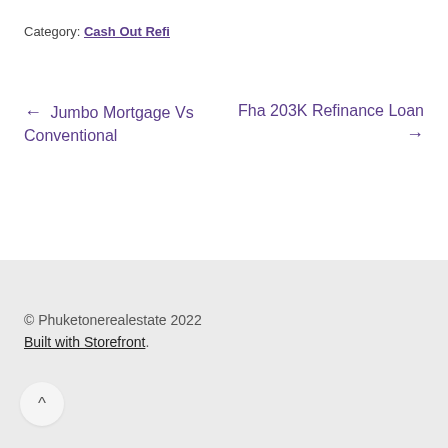Category: Cash Out Refi
← Jumbo Mortgage Vs Conventional
Fha 203K Refinance Loan →
© Phuketonerealestate 2022
Built with Storefront.